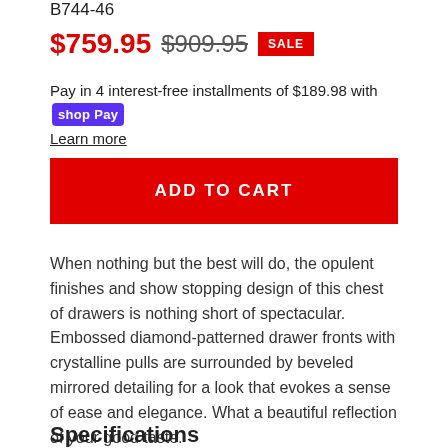B744-46
$759.95  $909.95  SALE
Pay in 4 interest-free installments of $189.98 with shop Pay
Learn more
ADD TO CART
When nothing but the best will do, the opulent finishes and show stopping design of this chest of drawers is nothing short of spectacular. Embossed diamond-patterned drawer fronts with crystalline pulls are surrounded by beveled mirrored detailing for a look that evokes a sense of ease and elegance. What a beautiful reflection of your good taste.
Specifications